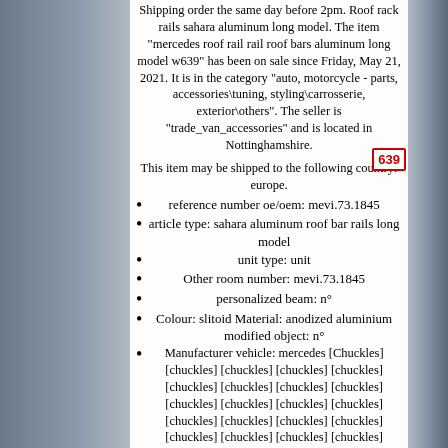Shipping order the same day before 2pm. Roof rack rails sahara aluminum long model. The item "mercedes roof rail rail roof bars aluminum long model w639" has been on sale since Friday, May 21, 2021. It is in the category "auto, motorcycle - parts, accessories\tuning, styling\carrosserie, exterior\others". The seller is "trade_van_accessories" and is located in Nottinghamshire.
This item may be shipped to the following country: europe.
reference number oe/oem: mevi.73.1845
article type: sahara aluminum roof bar rails long model
unit type: unit
Other room number: mevi.73.1845
personalized beam: n°
Colour: slitoid Material: anodized aluminium modified object: n°
Manufacturer vehicle: mercedes [Chuckles] [chuckles] [chuckles] [chuckles] [chuckles] [chuckles] [chuckles] [chuckles] [chuckles] [chuckles] [chuckles] [chuckles] [chuckles] [chuckles] [chuckles] [chuckles] [chuckles] [chuckles] [chuckles] [chuckles] [chuckles] [chuckles] [chuckles] [chuckles] [chuckles] [chuckles] [chuckles] [chuckles] [chuckles] [chuckles] [chuckles] [chuckles] [chuckles] [chuckles] [chuckles] [chuckles] [chuckles] [chuckles] [chuckles] [chuckles] [chuckles] [chuckles] [chuckles] [chuckles] [chuckles] [chuckles] [chuckles] Interchangeable piece: mevi.73.1845 Mark: tva styling Manufacturer part number: mevi.73.1845 Classic car piece: n° Unit quantity: 1 pair
Vehicle location: right